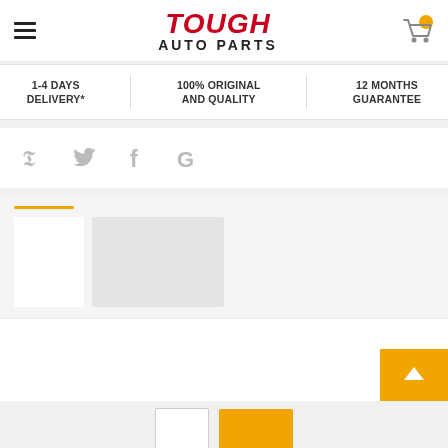[Figure (logo): Tough Auto Parts logo with hamburger menu and shopping cart icon]
1-4 DAYS DELIVERY*
100% ORIGINAL AND QUALITY
12 MONTHS GUARANTEE
[Figure (infographic): Social media icons: Twitter (bird), Facebook (f), Google (G) in gray]
[Figure (infographic): Product listing section with tab indicator bar and two product card placeholders]
[Figure (infographic): Back to top button with upward arrow in gold/yellow]
[Figure (infographic): Pagination buttons: outline button and filled gold button]